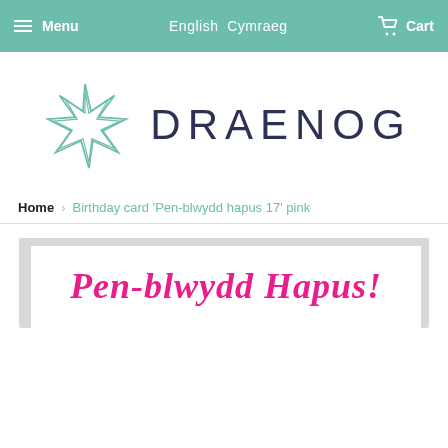Menu  English  Cymraeg  Cart
[Figure (logo): Draenog logo with geometric star/hedgehog icon in teal and the text DRAENOG in dark navy]
Home  >  Birthday card 'Pen-blwydd hapus 17' pink
[Figure (photo): Preview of a white birthday card with pink script text 'Pen-blwydd Hapus!' on a light grey background shadow]